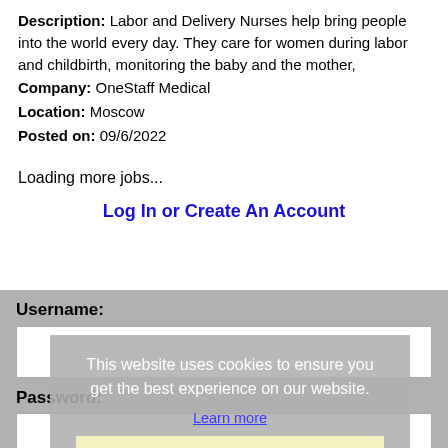Description: Labor and Delivery Nurses help bring people into the world every day. They care for women during labor and childbirth, monitoring the baby and the mother,
Company: OneStaff Medical
Location: Moscow
Posted on: 09/6/2022
Loading more jobs...
Log In or Create An Account
Username:
This website uses cookies to ensure you get the best experience on our website.
Learn more
Password:
Got it!
Log In